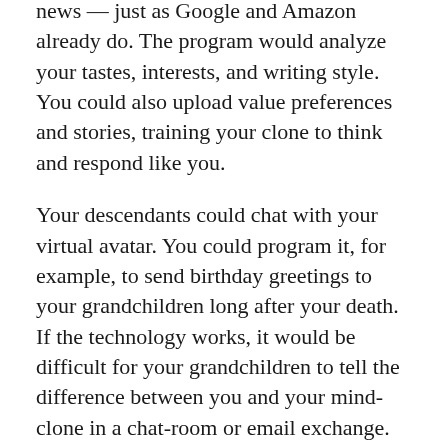news — just as Google and Amazon already do. The program would analyze your tastes, interests, and writing style. You could also upload value preferences and stories, training your clone to think and respond like you.
Your descendants could chat with your virtual avatar. You could program it, for example, to send birthday greetings to your grandchildren long after your death. If the technology works, it would be difficult for your grandchildren to tell the difference between you and your mind-clone in a chat-room or email exchange.
But is this really immortality? That depends. When we say that someone like Shakespeare has achieved immortality, we mean that his works and ideas endure. Maybe that's all we mean by immortality. When viewed from the outside, the self is, after all, merely a collection of habits, actions and thoughts that are observed in the world. All we really know about the immortal bard is what